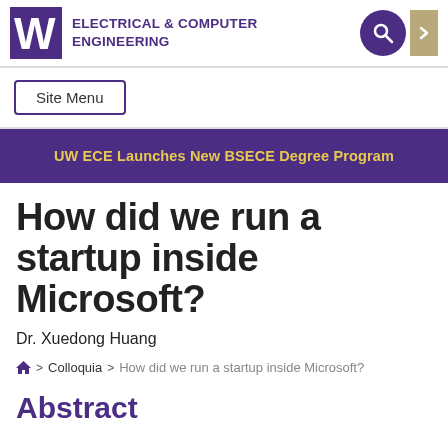ELECTRICAL & COMPUTER ENGINEERING
Site Menu
UW ECE Launches New BSECE Degree Program
How did we run a startup inside Microsoft?
Dr. Xuedong Huang
Home > Colloquia > How did we run a startup inside Microsoft?
Abstract